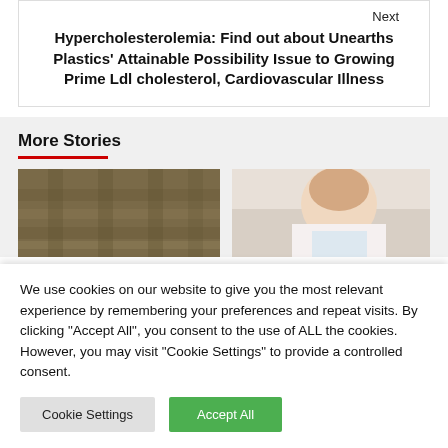Next
Hypercholesterolemia: Find out about Unearths Plastics' Attainable Possibility Issue to Growing Prime Ldl cholesterol, Cardiovascular Illness
More Stories
[Figure (photo): Two story thumbnail images side by side: left image showing braided or woven texture (yellowish-brown), right image showing a woman smiling]
We use cookies on our website to give you the most relevant experience by remembering your preferences and repeat visits. By clicking "Accept All", you consent to the use of ALL the cookies. However, you may visit "Cookie Settings" to provide a controlled consent.
Cookie Settings   Accept All